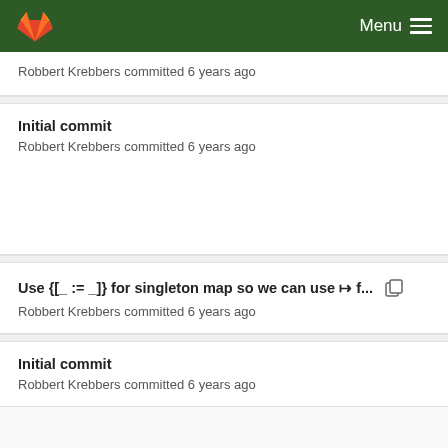Menu
Robbert Krebbers committed 6 years ago
Initial commit
Robbert Krebbers committed 6 years ago
Use {[_ := _]} for singleton map so we can use ↦ f...
Robbert Krebbers committed 6 years ago
Initial commit
Robbert Krebbers committed 6 years ago